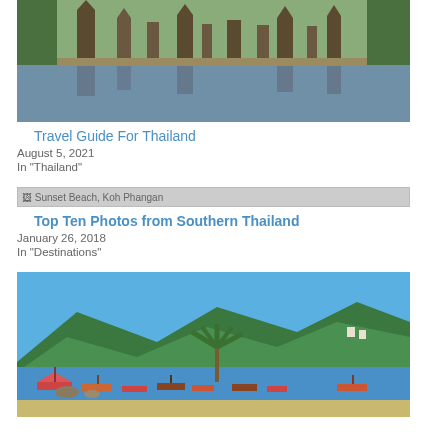[Figure (photo): Thailand temple ruins reflected in a river, with trees and ancient stone structures]
Travel Guide For Thailand
August 5, 2021
In "Thailand"
[Figure (photo): Broken image placeholder labeled Sunset Beach, Koh Phangan]
Top Ten Photos from Southern Thailand
January 26, 2018
In "Destinations"
[Figure (photo): Tropical island bay with boats, palm trees and green forested mountains under blue sky]